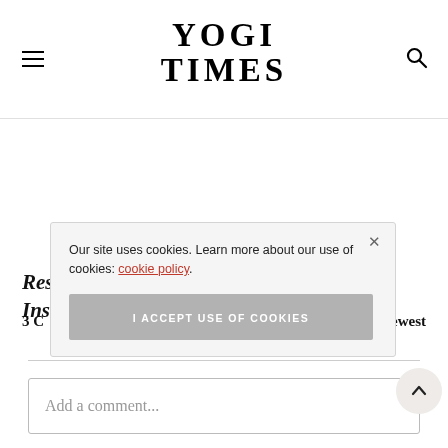YOGI TIMES
Res... Ins...
3 C... Jewes...
Our site uses cookies. Learn more about our use of cookies: cookie policy
I ACCEPT USE OF COOKIES
Add a comment...